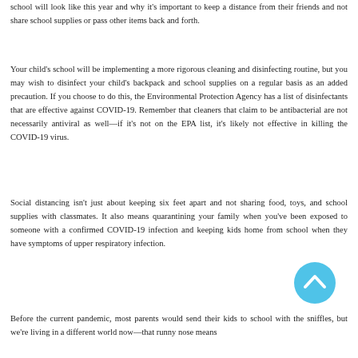school will look like this year and why it's important to keep a distance from their friends and not share school supplies or pass other items back and forth.
Your child's school will be implementing a more rigorous cleaning and disinfecting routine, but you may wish to disinfect your child's backpack and school supplies on a regular basis as an added precaution. If you choose to do this, the Environmental Protection Agency has a list of disinfectants that are effective against COVID-19. Remember that cleaners that claim to be antibacterial are not necessarily antiviral as well—if it's not on the EPA list, it's likely not effective in killing the COVID-19 virus.
Social distancing isn't just about keeping six feet apart and not sharing food, toys, and school supplies with classmates. It also means quarantining your family when you've been exposed to someone with a confirmed COVID-19 infection and keeping kids home from school when they have symptoms of upper respiratory infection.
Before the current pandemic, most parents would send their kids to school with the sniffles, but we're living in a different world now—that runny nose means
[Figure (other): A circular cyan/blue scroll-to-top button with an upward-pointing chevron arrow icon]